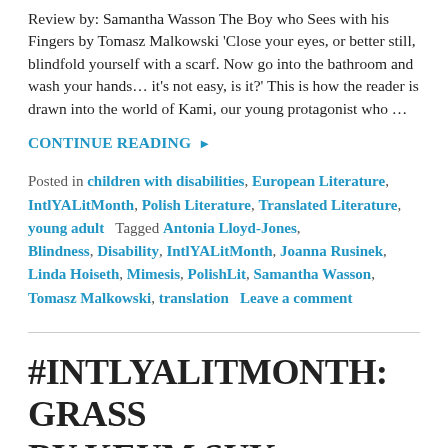Review by: Samantha Wasson The Boy who Sees with his Fingers by Tomasz Malkowski 'Close your eyes, or better still, blindfold yourself with a scarf. Now go into the bathroom and wash your hands... it's not easy, is it?' This is how the reader is drawn into the world of Kami, our young protagonist who …
CONTINUE READING ▶
Posted in children with disabilities, European Literature, IntlYALitMonth, Polish Literature, Translated Literature, young adult   Tagged Antonia Lloyd-Jones, Blindness, Disability, IntlYALitMonth, Joanna Rusinek, Linda Hoiseth, Mimesis, PolishLit, Samantha Wasson, Tomasz Malkowski, translation   Leave a comment
#INTLYALITMONTH: GRASS BY KEUM SUK GENDRY